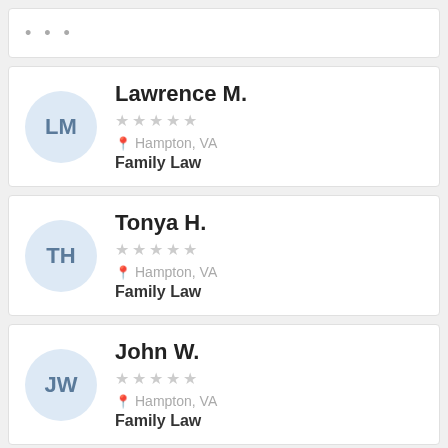[Figure (other): Three dots ellipsis menu icon in a card]
LM — Lawrence M. — Hampton, VA — Family Law — 5 stars (empty)
TH — Tonya H. — Hampton, VA — Family Law — 5 stars (empty)
JW — John W. — Hampton, VA — Family Law — 5 stars (empty)